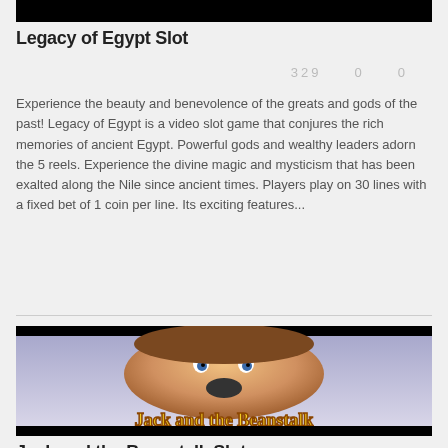[Figure (photo): Top black strip cropped image - top of Legacy of Egypt slot screenshot]
Legacy of Egypt Slot
329   0   0
Experience the beauty and benevolence of the greats and gods of the past! Legacy of Egypt is a video slot game that conjures the rich memories of ancient Egypt. Powerful gods and wealthy leaders adorn the 5 reels. Experience the divine magic and mysticism that has been exalted along the Nile since ancient times. Players play on 30 lines with a fixed bet of 1 coin per line. Its exciting features...
[Figure (photo): Jack and the Beanstalk slot game promotional image showing animated boy character with wide eyes and mouth open, with golden logo text 'Jack and the Beanstalk' at bottom]
Jack and the Beanstalk Slot
623   0   0